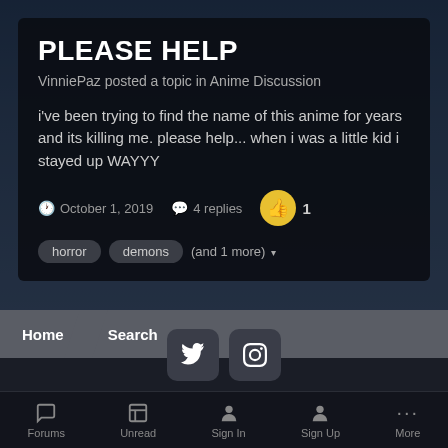PLEASE HELP
VinniePaz posted a topic in Anime Discussion
i've been trying to find the name of this anime for years and its killing me. please help... when i was a little kid i stayed up WAYYY
October 1, 2019 · 4 replies · 1 like
horror  demons  (and 1 more)
Home  Search
Theme  Privacy Policy
Powered by Invision Community
Forums  Unread  Sign In  Sign Up  More